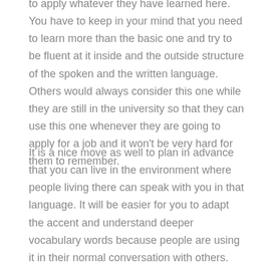to apply whatever they have learned here. You have to keep in your mind that you need to learn more than the basic one and try to be fluent at it inside and the outside structure of the spoken and the written language. Others would always consider this one while they are still in the university so that they can use this one whenever they are going to apply for a job and it won't be very hard for them to remember.
It is a nice move as well to plan in advance that you can live in the environment where people living there can speak with you in that language. It will be easier for you to adapt the accent and understand deeper vocabulary words because people are using it in their normal conversation with others. You can be a teacher or an interpreter as your job and this can earn more than the normal salary that people can earn.